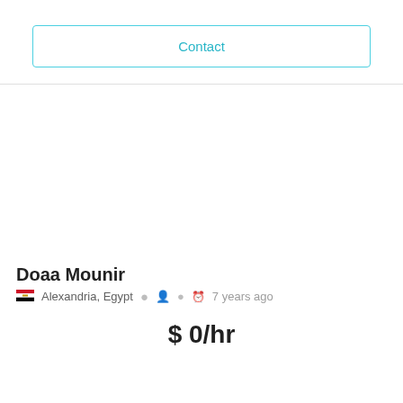Contact
Doaa Mounir
Alexandria, Egypt  7 years ago
$ 0/hr